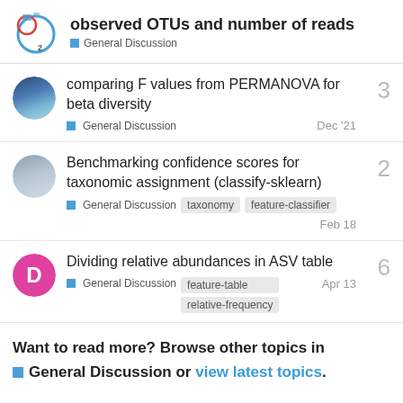observed OTUs and number of reads — General Discussion
comparing F values from PERMANOVA for beta diversity
General Discussion — Dec '21 — 3 replies
Benchmarking confidence scores for taxonomic assignment (classify-sklearn)
General Discussion — taxonomy — feature-classifier — Feb 18 — 2 replies
Dividing relative abundances in ASV table
General Discussion — feature-table — relative-frequency — Apr 13 — 6 replies
Want to read more? Browse other topics in General Discussion or view latest topics.